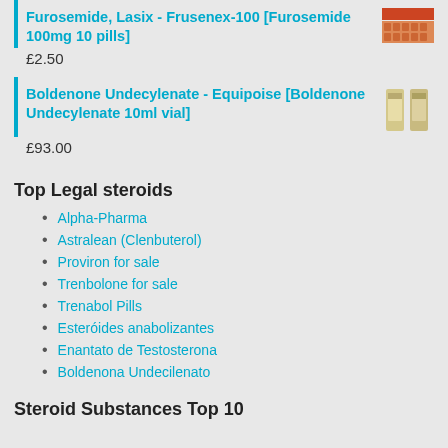Furosemide, Lasix - Frusenex-100 [Furosemide 100mg 10 pills]
£2.50
Boldenone Undecylenate - Equipoise [Boldenone Undecylenate 10ml vial]
£93.00
Top Legal steroids
Alpha-Pharma
Astralean (Clenbuterol)
Proviron for sale
Trenbolone for sale
Trenabol Pills
Esteróides anabolizantes
Enantato de Testosterona
Boldenona Undecilenato
Steroid Substances Top 10